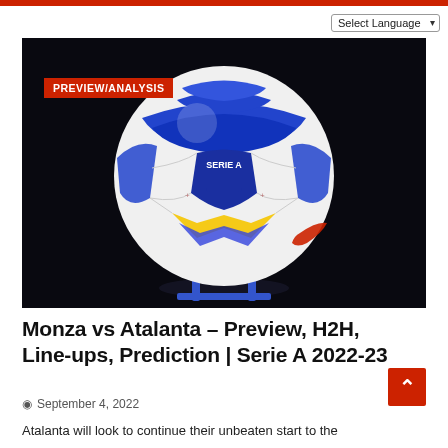Select Language
PREVIEW/ANALYSIS
[Figure (photo): A Nike Serie A official match ball displayed on a blue stand against a dark background. The ball is white with blue and yellow geometric patterns and features the Serie A logo.]
Monza vs Atalanta – Preview, H2H, Line-ups, Prediction | Serie A 2022-23
September 4, 2022
Atalanta will look to continue their unbeaten start to the